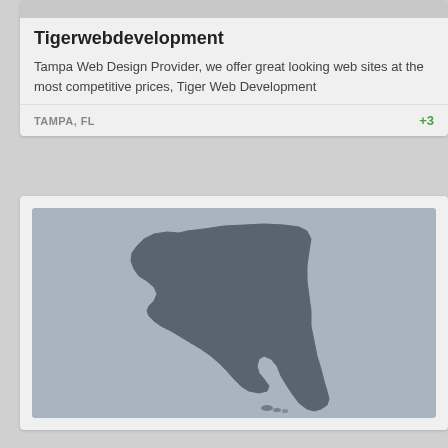Tigerwebdevelopment
Tampa Web Design Provider, we offer great looking web sites at the most competitive prices, Tiger Web Development
TAMPA, FL +3
[Figure (map): Map of the state of Florida shown as a dark gray silhouette on a light blue-gray background]